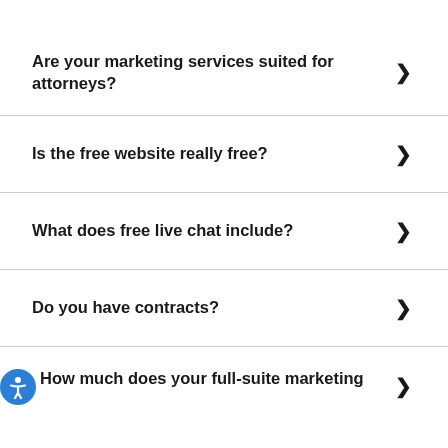Are your marketing services suited for attorneys?
Is the free website really free?
What does free live chat include?
Do you have contracts?
How much does your full-suite marketing